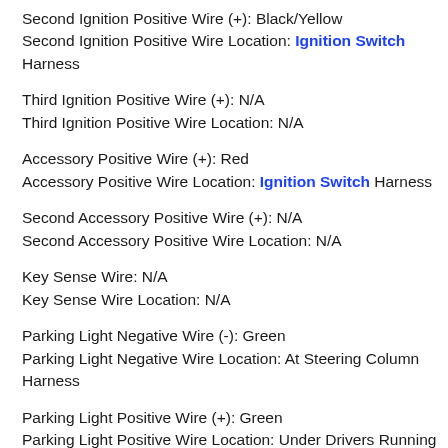Second Ignition Positive Wire (+): Black/Yellow
Second Ignition Positive Wire Location: Ignition Switch Harness
Third Ignition Positive Wire (+): N/A
Third Ignition Positive Wire Location: N/A
Accessory Positive Wire (+): Red
Accessory Positive Wire Location: Ignition Switch Harness
Second Accessory Positive Wire (+): N/A
Second Accessory Positive Wire Location: N/A
Key Sense Wire: N/A
Key Sense Wire Location: N/A
Parking Light Negative Wire (-): Green
Parking Light Negative Wire Location: At Steering Column Harness
Parking Light Positive Wire (+): Green
Parking Light Positive Wire Location: Under Drivers Running Board